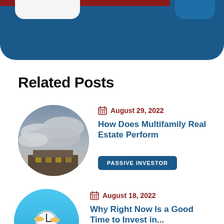[Figure (illustration): Dark blue banner/header section at top with red bar accent, white tab on left side, and rounded blue tab on right side. Curved bottom edge.]
Related Posts
[Figure (photo): Circular thumbnail photo showing a building with a dramatic cloudy sky.]
August 29, 2022
How Does Multifamily Real Estate Perform
PASSIVE INVESTOR
[Figure (photo): Circular thumbnail showing a person holding a piggy bank or money-related object on a blue background.]
August 18, 2022
Why Right Now Is a Good Time to Invest in...